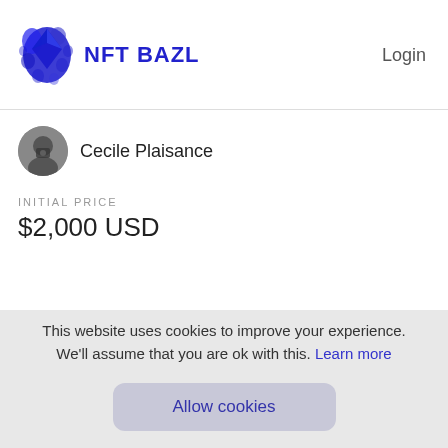[Figure (logo): NFT BAZL logo with blue splatter graphic and bold blue text]
Login
[Figure (photo): Small circular avatar photo of Cecile Plaisance]
Cecile Plaisance
INITIAL PRICE
$2,000 USD
[Figure (photo): Dark black background section with faint image content]
This website uses cookies to improve your experience. We'll assume that you are ok with this. Learn more